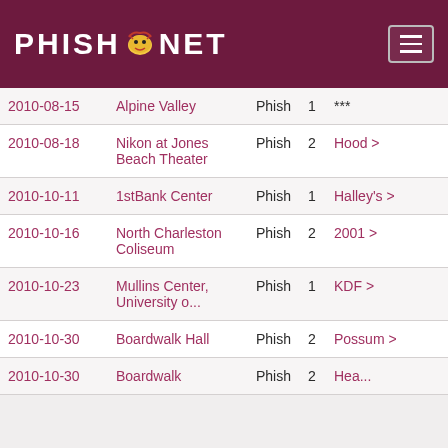PHISH.NET
| Date | Venue | Artist | Set | Song |
| --- | --- | --- | --- | --- |
| 2010-08-15 | Alpine Valley | Phish | 1 | *** |
| 2010-08-18 | Nikon at Jones Beach Theater | Phish | 2 | Hood > |
| 2010-10-11 | 1stBank Center | Phish | 1 | Halley's > |
| 2010-10-16 | North Charleston Coliseum | Phish | 2 | 2001 > |
| 2010-10-23 | Mullins Center, University o... | Phish | 1 | KDF > |
| 2010-10-30 | Boardwalk Hall | Phish | 2 | Possum > |
| 2010-10-30 | Boardwalk... | Phish | 2 | Hea... |